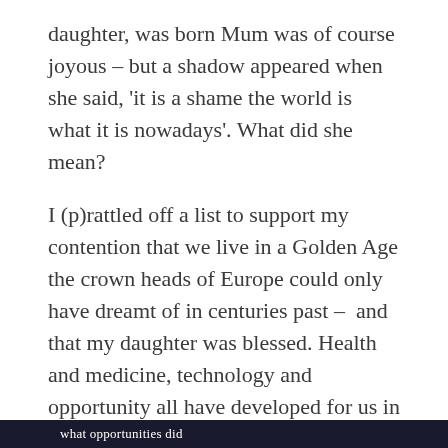daughter, was born Mum was of course joyous – but a shadow appeared when she said, 'it is a shame the world is what it is nowadays'. What did she mean?
I (p)rattled off a list to support my contention that we live in a Golden Age the crown heads of Europe could only have dreamt of in centuries past –  and that my daughter was blessed. Health and medicine, technology and opportunity all have developed for us in NSW in  stellar fashion; even the least advantaged are better off. I
what opportunities did